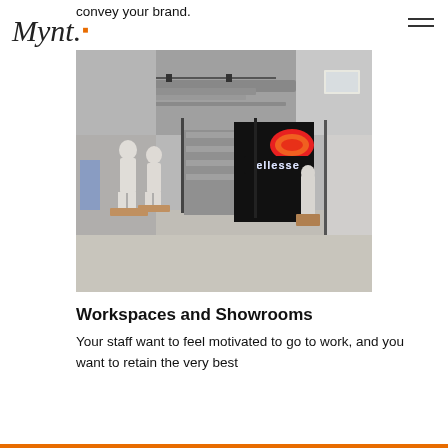convey your brand.
Mynt.
[Figure (photo): Interior of a showroom with exposed ceiling ducts, mannequins on wooden bases on the left, metallic shelving units in the centre-back, and a black wall displaying the illuminated Ellesse neon logo on the right side. High-ceiling attic-style space with concrete floor.]
Workspaces and Showrooms
Your staff want to feel motivated to go to work, and you want to retain the very best